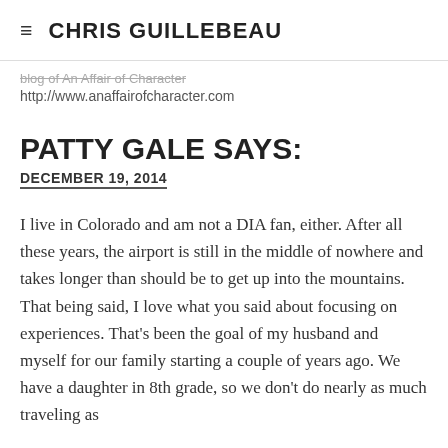CHRIS GUILLEBEAU
blog of An Affair of Character
http://www.anaffairofcharacter.com
PATTY GALE SAYS:
DECEMBER 19, 2014
I live in Colorado and am not a DIA fan, either. After all these years, the airport is still in the middle of nowhere and takes longer than should be to get up into the mountains. That being said, I love what you said about focusing on experiences. That's been the goal of my husband and myself for our family starting a couple of years ago. We have a daughter in 8th grade, so we don't do nearly as much traveling as